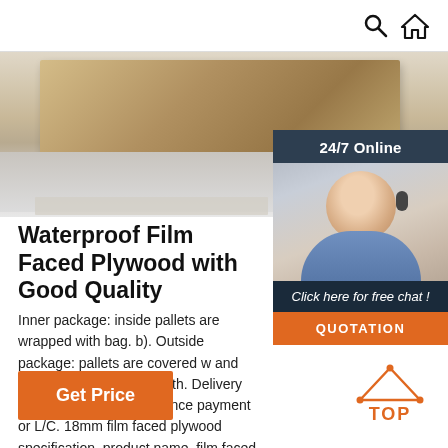Search and Home icons
[Figure (photo): Product image showing film faced plywood sheets stacked, light brown/tan colored wood panels]
[Figure (infographic): 24/7 Online chat widget with customer service representative photo, 'Click here for free chat!' link, and QUOTATION button]
Waterproof Film Faced Plywood with Good Quality
Inner package: inside pallets are wrapped with bag. b). Outside package: pallets are covered w and with PVC/steel for strength. Delivery Deta after received advance payment or L/C. 18mm film faced plywood specification. product name. film faced ply,marine ply,shuttering ply,etc.
[Figure (logo): TOP orange arrow/triangle logo with dots]
Get Price